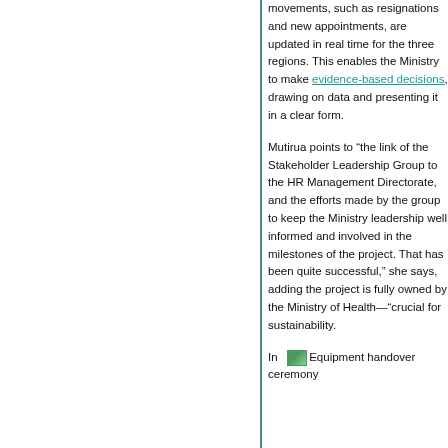movements, such as resignations and new appointments, are updated in real time for the three regions. This enables the Ministry to make evidence-based decisions, drawing on data and presenting it in a clear form.
Mutirua points to “the link of the Stakeholder Leadership Group to the HR Management Directorate, and the efforts made by the group to keep the Ministry leadership well informed and involved in the milestones of the project. That has been quite successful,” she says, adding the project is fully owned by the Ministry of Health—“crucial for sustainability.
In   Equipment handover ceremony